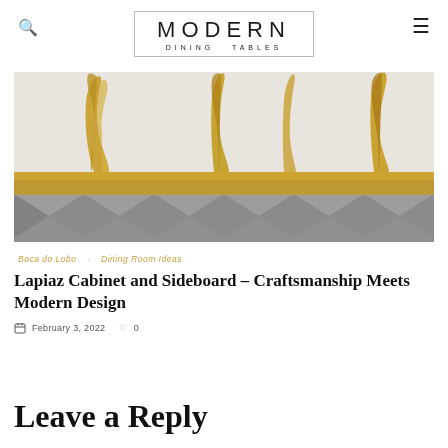MODERN DINING TABLES
[Figure (photo): Abstract gold liquid splash sculpture on reflective surface with diamond-pattern base, editorial product photography]
Boca do Lobo · Dining Room Ideas
Lapiaz Cabinet and Sideboard – Craftsmanship Meets Modern Design
February 3, 2022  ♡ 0
Leave a Reply